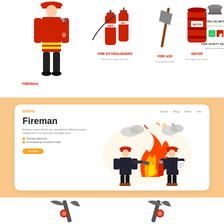[Figure (illustration): Top row: firefighter in red suit with extinguisher, fire extinguishers pair labeled WET, fire axe, red water barrel, fire helmet, fire safety signs icons with labels below each]
[Figure (illustration): Orange background web landing page card showing Fireman heading, descriptive text, two bullet points, orange CTA button, and firefighters cartoon battling a large flame in the center]
[Figure (illustration): Bottom partial row: two fire axe/pickaxe tools crossing, partially visible at bottom of page]